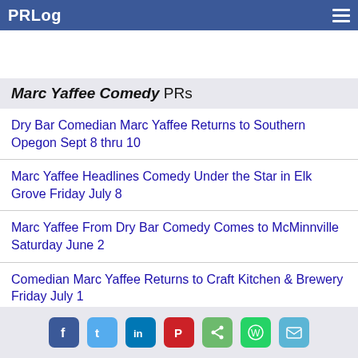PRLog
Marc Yaffee Comedy PRs
Dry Bar Comedian Marc Yaffee Returns to Southern Opegon Sept 8 thru 10
Marc Yaffee Headlines Comedy Under the Star in Elk Grove Friday July 8
Marc Yaffee From Dry Bar Comedy Comes to McMinnville Saturday June 2
Comedian Marc Yaffee Returns to Craft Kitchen & Brewery Friday July 1
Stand-Up Favorite Marc Yaffee Returns to Carson Comedy Club
Social share icons: Facebook, Twitter, LinkedIn, Pinterest, Share, WhatsApp, Email